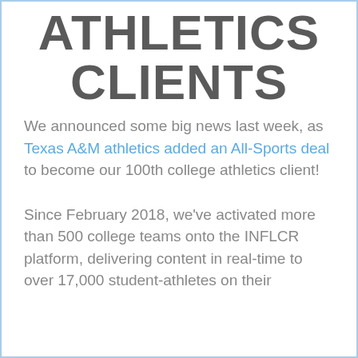ATHLETICS CLIENTS
We announced some big news last week, as Texas A&M athletics added an All-Sports deal to become our 100th college athletics client!
Since February 2018, we've activated more than 500 college teams onto the INFLCR platform, delivering content in real-time to over 17,000 student-athletes on their